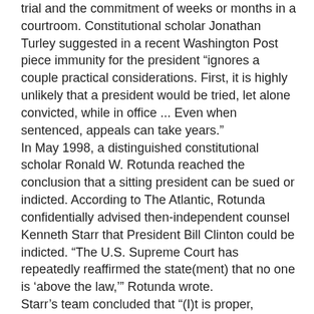trial and the commitment of weeks or months in a courtroom. Constitutional scholar Jonathan Turley suggested in a recent Washington Post piece immunity for the president "ignores a couple practical considerations. First, it is highly unlikely that a president would be tried, let alone convicted, while in office ... Even when sentenced, appeals can take years."
In May 1998, a distinguished constitutional scholar Ronald W. Rotunda reached the conclusion that a sitting president can be sued or indicted. According to The Atlantic, Rotunda confidentially advised then-independent counsel Kenneth Starr that President Bill Clinton could be indicted. "The U.S. Supreme Court has repeatedly reaffirmed the state(ment) that no one is 'above the law,'" Rotunda wrote.
Starr's team concluded that "(I)t is proper, constitutional and legal for a federal grand jury to indict a sitting president for serious criminal acts that are not part of, and are contrary to, the president's official duties."
Walter Dellinger, a former assistant attorney general and the head of the Office of Legal Counsel at the Department of Justice, writing for the New York Times, cited Clinton v. Jones. President Clinton had long fought to stop a civil suit brought against him by Paula Jones. The case ultimately